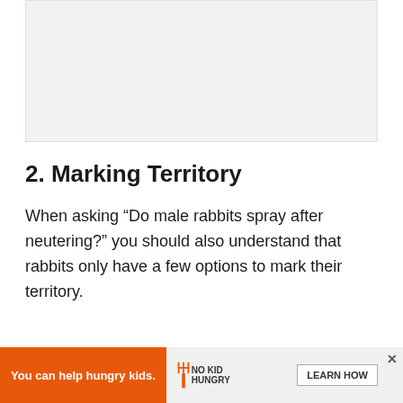[Figure (other): Light gray placeholder image area at top of page]
2. Marking Territory
When asking “Do male rabbits spray after neutering?” you should also understand that rabbits only have a few options to mark their territory.
This means a rabbit is either going to start
[Figure (other): Advertisement banner: orange section with 'You can help hungry kids.' text, No Kid Hungry logo, and LEARN HOW button with close X]